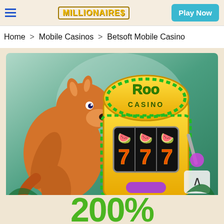MILLIONAIRES | Play Now
Home > Mobile Casinos > Betsoft Mobile Casino
[Figure (illustration): Roo Casino promotional image showing a cartoon kangaroo next to a golden slot machine displaying 777, with 'Roo Casino' text on the machine, set against a green jungle background]
200%